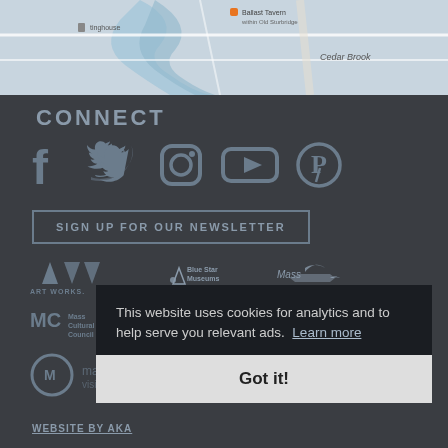[Figure (map): Google Maps screenshot showing Cedar Brook area with Ballast Tavern within Old Sturbridge and a road network]
CONNECT
[Figure (infographic): Social media icons: Facebook, Twitter, Instagram, YouTube, Pinterest in dark grey]
SIGN UP FOR OUR NEWSLETTER
[Figure (logo): Art Works logo]
[Figure (logo): Blue Star Museums logo]
[Figure (logo): Mass Cultural Council logo]
[Figure (logo): United Way logo]
[Figure (logo): NEA National Endowment for the Arts logo]
[Figure (logo): Massachusetts visitma.com logo]
This website uses cookies for analytics and to help serve you relevant ads.  Learn more
Got it!
WEBSITE BY AKA